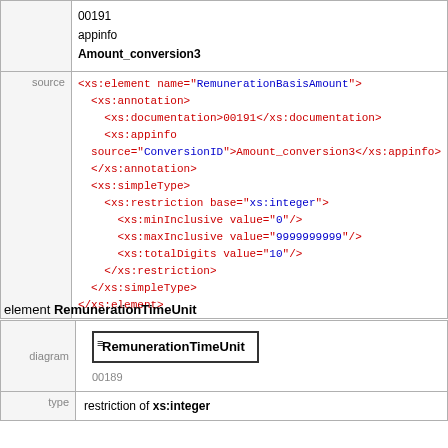|  | 00191
appinfo
Amount_conversion3 |
| source | <xs:element name="RemunerationBasisAmount">
  <xs:annotation>
    <xs:documentation>00191</xs:documentation>
    <xs:appinfo source="ConversionID">Amount_conversion3</xs:appinfo>
  </xs:annotation>
  <xs:simpleType>
    <xs:restriction base="xs:integer">
      <xs:minInclusive value="0"/>
      <xs:maxInclusive value="9999999999"/>
      <xs:totalDigits value="10"/>
    </xs:restriction>
  </xs:simpleType>
</xs:element> |
element RemunerationTimeUnit
| diagram | RemunerationTimeUnit
00189 |
| type | restriction of xs:integer |